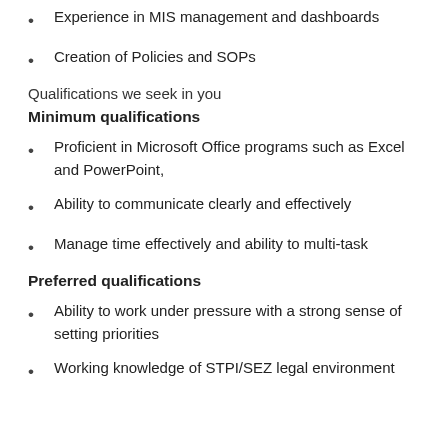Experience in MIS management and dashboards
Creation of Policies and SOPs
Qualifications we seek in you
Minimum qualifications
Proficient in Microsoft Office programs such as Excel and PowerPoint,
Ability to communicate clearly and effectively
Manage time effectively and ability to multi-task
Preferred qualifications
Ability to work under pressure with a strong sense of setting priorities
Working knowledge of STPI/SEZ legal environment